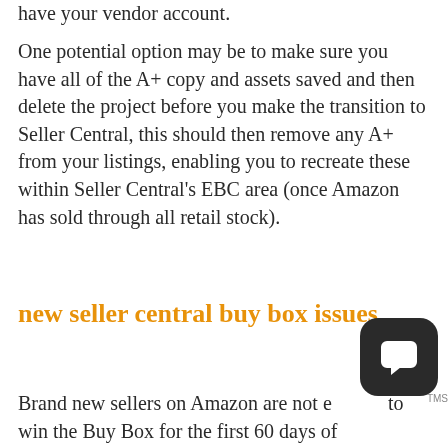have your vendor account.
One potential option may be to make sure you have all of the A+ copy and assets saved and then delete the project before you make the transition to Seller Central, this should then remove any A+ from your listings, enabling you to recreate these within Seller Central's EBC area (once Amazon has sold through all retail stock).
new seller central buy box issues
Brand new sellers on Amazon are not eligible to win the Buy Box for the first 60 days of